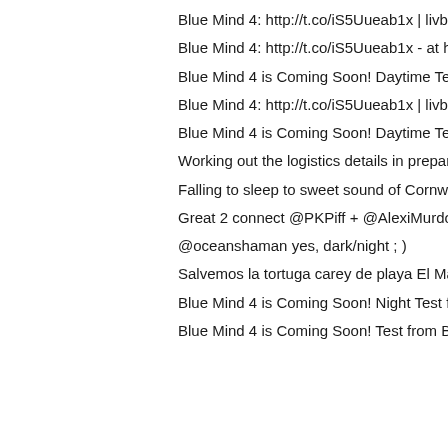Blue Mind 4: http://t.co/iS5Uueab1x | livblue | Bambuser http
Blue Mind 4: http://t.co/iS5Uueab1x - at http://t.co/Mz9aaoo
Blue Mind 4 is Coming Soon! Daytime Test from Bedruthan S
Blue Mind 4: http://t.co/iS5Uueab1x | livblue | Bambuser http
Blue Mind 4 is Coming Soon! Daytime Test from Bedruthan S
Working out the logistics details in preparation for the summ
Falling to sleep to sweet sound of Cornwall’s waves (+ little
Great 2 connect @PKPiff + @AlexiMurdoch in preparation 4
@oceanshaman yes, dark/night ; )
Salvemos la tortuga carey de playa El Maculis, El Salvador  h
Blue Mind 4 is Coming Soon! Night Test from Bedruthan Ste
Blue Mind 4 is Coming Soon! Test from Bedruthan Steps | liv